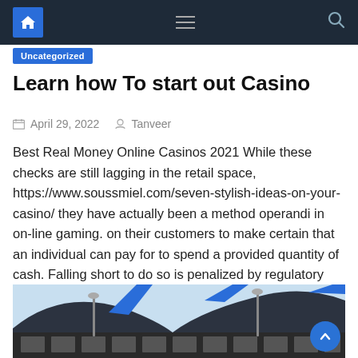Navigation bar with home, menu, and search icons
Uncategorized
Learn how To start out Casino
April 29, 2022   Tanveer
Best Real Money Online Casinos 2021 While these checks are still lagging in the retail space, https://www.soussmiel.com/seven-stylish-ideas-on-your-casino/ they have actually been a method operandi in on-line gaming. on their customers to make certain that an individual can pay for to spend a provided quantity of cash. Falling short to do so is penalized by regulatory [...]
[Figure (photo): Exterior architectural photo of a building with curved dark roofing, blue accent fins, light poles with lamp fixtures, and a blue sky background]